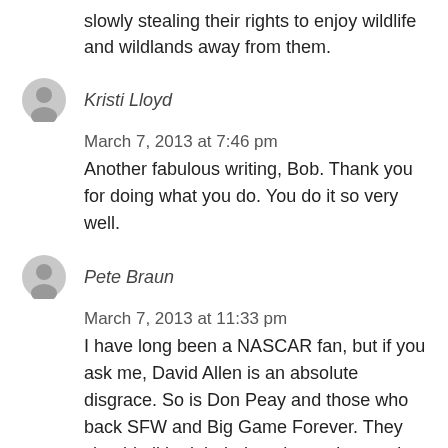slowly stealing their rights to enjoy wildlife and wildlands away from them.
Kristi Lloyd
March 7, 2013 at 7:46 pm
Another fabulous writing, Bob.  Thank you for doing what you do.  You do it so very well.
Pete Braun
March 7, 2013 at 11:33 pm
I have long been a NASCAR fan, but if you ask me, David Allen is an absolute disgrace. So is Don Peay and those who back SFW and Big Game Forever. They should all be labeled as domestic terrorist groups.
somsai